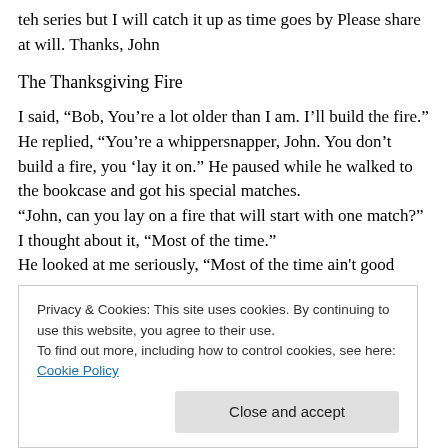teh series but I will catch it up as time goes by Please share at will. Thanks, John
The Thanksgiving Fire
I said, “Bob, You’re a lot older than I am. I’ll build the fire.” He replied, “You’re a whippersnapper, John. You don’t build a fire, you ‘lay it on.” He paused while he walked to the bookcase and got his special matches. “John, can you lay on a fire that will start with one match?” I thought about it, “Most of the time.” He looked at me seriously, “Most of the time ain’t good door.
Privacy & Cookies: This site uses cookies. By continuing to use this website, you agree to their use. To find out more, including how to control cookies, see here: Cookie Policy
Close and accept